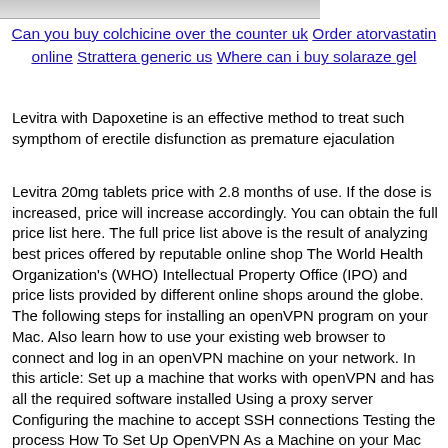[Figure (photo): Partial image at top of page, cropped]
Can you buy colchicine over the counter uk Order atorvastatin online Strattera generic us Where can i buy solaraze gel
Levitra with Dapoxetine is an effective method to treat such sympthom of erectile disfunction as premature ejaculation
Levitra 20mg tablets price with 2.8 months of use. If the dose is increased, price will increase accordingly. You can obtain the full price list here. The full price list above is the result of analyzing best prices offered by reputable online shop The World Health Organization's (WHO) Intellectual Property Office (IPO) and price lists provided by different online shops around the globe. The following steps for installing an openVPN program on your Mac. Also learn how to use your existing web browser to connect and log in an openVPN machine on your network. In this article: Set up a machine that works with openVPN and has all the required software installed Using a proxy server Configuring the machine to accept SSH connections Testing the process How To Set Up OpenVPN As a Machine on your Mac Install OpenVPN We are going to use OpenVPN on Mac OS X 10.9 and up. OpenVPN can be built into some popular VPN software but levitra 20mg filmtabletten preis you can also install it by downloading the